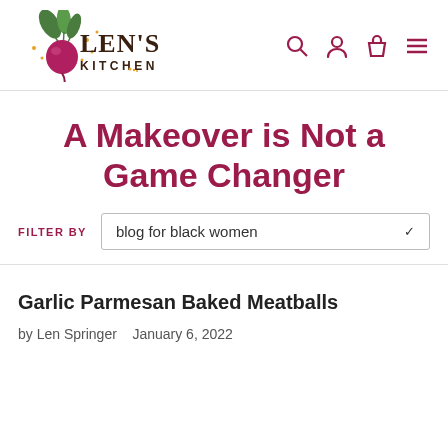LEN'S KITCHEN
A Makeover is Not a Game Changer
FILTER BY  blog for black women
Garlic Parmesan Baked Meatballs
by Len Springer   January 6, 2022